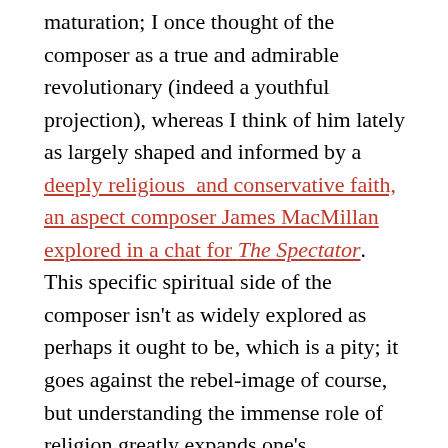maturation; I once thought of the composer as a true and admirable revolutionary (indeed a youthful projection), whereas I think of him lately as largely shaped and informed by a deeply religious and conservative faith, an aspect composer James MacMillan explored in a chat for The Spectator. This specific spiritual side of the composer isn't as widely explored as perhaps it ought to be, which is a pity; it goes against the rebel-image of course, but understanding the immense role of religion greatly expands one's appreciation – of Fidelio, some symphonies, and various choral works like Missa Solemnis, to say nothing of the many subsequent works inspired by them, MacMillan's oeuvre included. Again, the religious Beethoven doesn't gel with (and perhaps